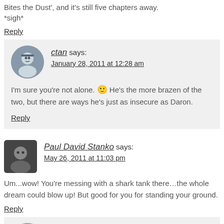Bites the Dust', and it's still five chapters away. *sigh*
Reply
ctan says: January 28, 2011 at 12:28 am
I'm sure you're not alone. 🙂 He's the more brazen of the two, but there are ways he's just as insecure as Daron.
Reply
Paul David Stanko says: May 26, 2011 at 11:03 pm
Um...wow! You're messing with a shark tank there…the whole dream could blow up! But good for you for standing your ground.
Reply
daron says: June 17, 2011 at 1:11 am